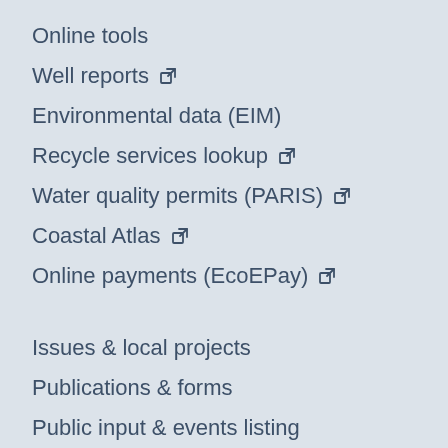Online tools
Well reports ↪
Environmental data (EIM)
Recycle services lookup ↪
Water quality permits (PARIS) ↪
Coastal Atlas ↪
Online payments (EcoEPay) ↪
Issues & local projects
Publications & forms
Public input & events listing
Grants & loans
Laws, rules, & rulemaking
Contracts & bids